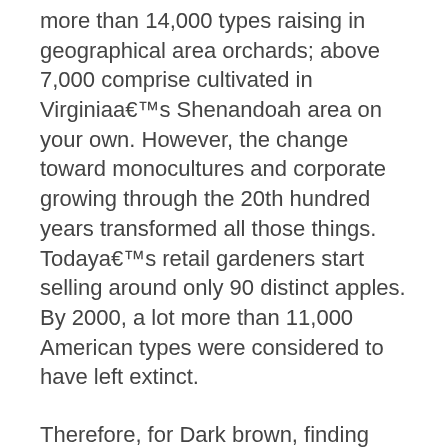more than 14,000 types raising in geographical area orchards; above 7,000 comprise cultivated in Virginiaa€™s Shenandoah area on your own. However, the change toward monocultures and corporate growing through the 20th hundred years transformed all those things. Todaya€™s retail gardeners start selling around only 90 distinct apples. By 2000, a lot more than 11,000 American types were considered to have left extinct.
Therefore, for Dark brown, finding many older piece of fruit varieties in a single consult that he could reestablish to orchards and nurseries uk dating latvian had been a big victory. But when J.P. velocity described hea€™d noticed describe a Junaluska forest in Haywood region, Browna€™s center